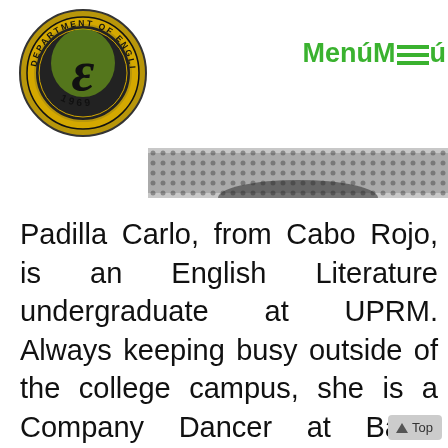[Figure (logo): Department of English 1969 seal/logo — circular gold and black emblem with a stylized E in the center]
[Figure (photo): Partial photo of a person wearing a dark dotted/patterned top, cropped to show shoulder/hair area]
MenúMenú (navigation menu links with hamburger icon)
Padilla Carlo, from Cabo Rojo, is an English Literature undergraduate at UPRM. Always keeping busy outside of the college campus, she is a Company Dancer at Ballet Escenario, Copy Editor for Sábanas Bilingual Literary